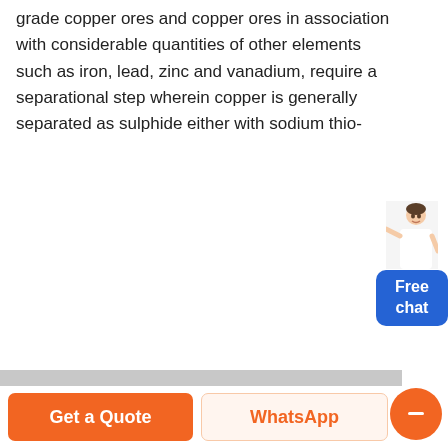grade copper ores and copper ores in association with considerable quantities of other elements such as iron, lead, zinc and vanadium, require a separational step wherein copper is gene-rally separated as sulphide either with sodium thio-
[Figure (photo): Aerial view of an open-pit copper mining facility showing conveyor belts, crushing and processing equipment with stockpiles of ore in the background.]